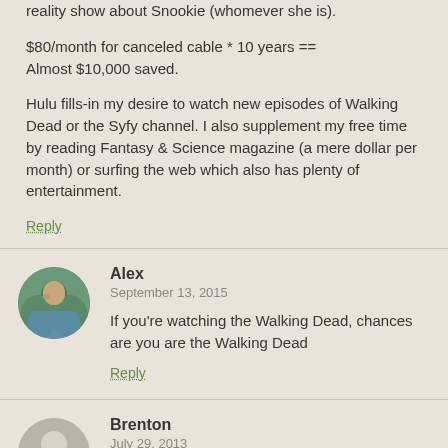reality show about Snookie (whomever she is).
$80/month for canceled cable * 10 years == Almost $10,000 saved.
Hulu fills-in my desire to watch new episodes of Walking Dead or the Syfy channel. I also supplement my free time by reading Fantasy & Science magazine (a mere dollar per month) or surfing the web which also has plenty of entertainment.
Reply
Alex
September 13, 2015
If you're watching the Walking Dead, chances are you are the Walking Dead
Reply
Brenton
July 29, 2013
You can just buy the entire season on